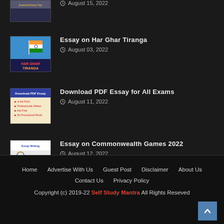Description Paper (Essay) For IES SAE TNPS · August 15, 2022
Essay on Har Ghar Tiranga · August 03, 2022
Download PDF Essay for All Exams · August 11, 2022
Essay on Commonwealth Games 2022 · August 12, 2022
Home  Advertise With Us  Guest Post  Disclaimer  About Us  Contact Us  Privacy Policy  Copyright (c) 2019-22 Self Study Mantra All Rights Reseved